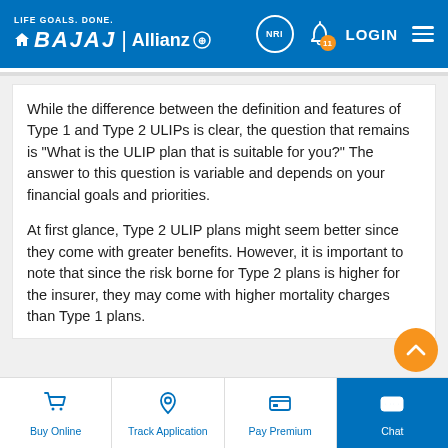LIFE GOALS. DONE. BAJAJ Allianz - NRI LOGIN
While the difference between the definition and features of Type 1 and Type 2 ULIPs is clear, the question that remains is "What is the ULIP plan that is suitable for you?" The answer to this question is variable and depends on your financial goals and priorities.
At first glance, Type 2 ULIP plans might seem better since they come with greater benefits. However, it is important to note that since the risk borne for Type 2 plans is higher for the insurer, they may come with higher mortality charges than Type 1 plans.
Buy Online | Track Application | Pay Premium | Chat